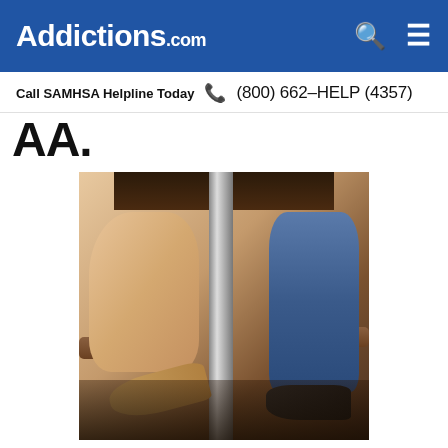Addictions.com
Call SAMHSA Helpline Today  ☎ (800) 662-HELP (4357)
AA:
[Figure (photo): Photo showing two people's legs under a bar or table. On the left, a woman's bare leg in a tan high-heeled pump shoe. On the right, a man's leg in blue jeans and a dark loafer. The woman's foot is touching/nudging the man's ankle. Bar stools and a metal pole are visible in the background.]